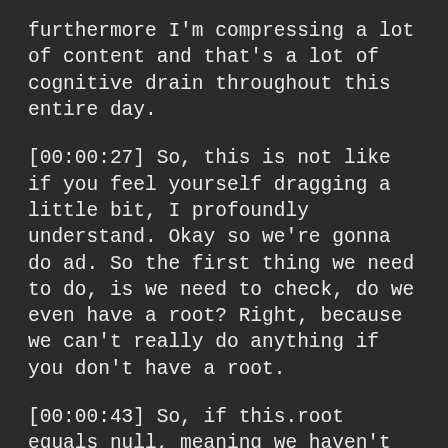furthermore I'm compressing a lot of content and that's a lot of cognitive drain throughout this entire day.
[00:00:27] So, this is not like if you feel yourself dragging a little bit, I profoundly understand. Okay so we're gonna do ad. So the first thing we need to do, is we need to check, do we even have a root? Right, because we can't really do anything if you don't have a root.
[00:00:43] So, if this.root equals null, meaning we haven't added anything to the list yet, gonna say, this.root = new Node(value). Okay, a plus, we now have a route which is good. And here, I'm just gonna say return cuz then you don't wanna do any of this other stuff if you create the node.
[00:01:12] So, let's go ahead and do the rest of